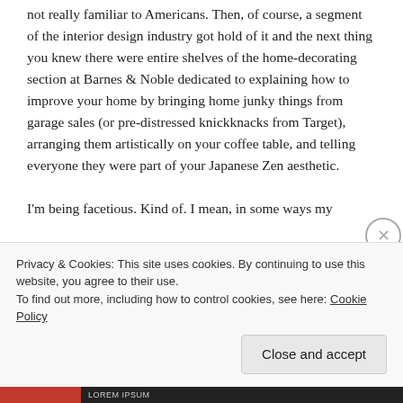conjoined and made into one concept these days), were not really familiar to Americans. Then, of course, a segment of the interior design industry got hold of it and the next thing you knew there were entire shelves of the home-decorating section at Barnes & Noble dedicated to explaining how to improve your home by bringing home junky things from garage sales (or pre-distressed knickknacks from Target), arranging them artistically on your coffee table, and telling everyone they were part of your Japanese Zen aesthetic.

I'm being facetious. Kind of. I mean, in some ways my
Privacy & Cookies: This site uses cookies. By continuing to use this website, you agree to their use.
To find out more, including how to control cookies, see here: Cookie Policy
Close and accept